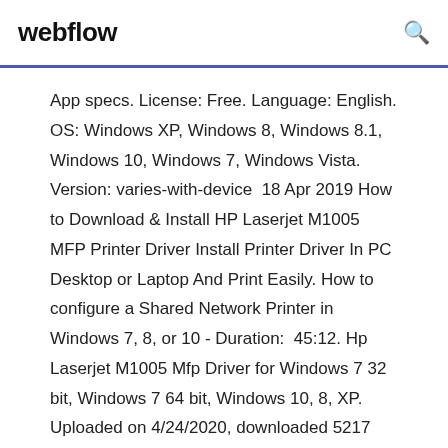webflow
App specs. License: Free. Language: English. OS: Windows XP, Windows 8, Windows 8.1, Windows 10, Windows 7, Windows Vista. Version: varies-with-device  18 Apr 2019 How to Download & Install HP Laserjet M1005 MFP Printer Driver Install Printer Driver In PC Desktop or Laptop And Print Easily. How to configure a Shared Network Printer in Windows 7, 8, or 10 - Duration: 45:12. Hp Laserjet M1005 Mfp Driver for Windows 7 32 bit, Windows 7 64 bit, Windows 10, 8, XP. Uploaded on 4/24/2020, downloaded 5217 times, receiving a 92/100  HP LaserJet M1005 Multifunction Printer Driver Update Utility. Supported OS: Windows 10,